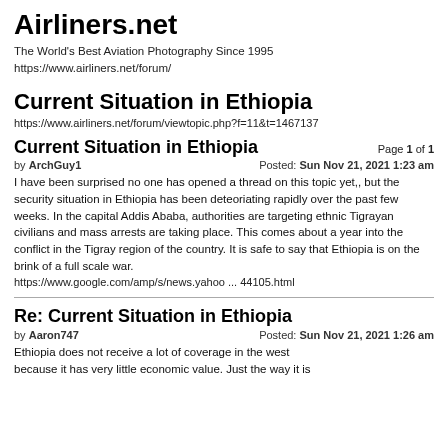Airliners.net
The World's Best Aviation Photography Since 1995
https://www.airliners.net/forum/
Current Situation in Ethiopia
https://www.airliners.net/forum/viewtopic.php?f=11&t=1467137
Current Situation in Ethiopia
Page 1 of 1
by ArchGuy1
Posted: Sun Nov 21, 2021 1:23 am
I have been surprised no one has opened a thread on this topic yet,, but the security situation in Ethiopia has been deteoriating rapidly over the past few weeks. In the capital Addis Ababa, authorities are targeting ethnic Tigrayan civilians and mass arrests are taking place. This comes about a year into the conflict in the Tigray region of the country. It is safe to say that Ethiopia is on the brink of a full scale war.
https://www.google.com/amp/s/news.yahoo ... 44105.html
Re: Current Situation in Ethiopia
by Aaron747
Posted: Sun Nov 21, 2021 1:26 am
Ethiopia does not receive a lot of coverage in the west because it has very little economic value. Just the way it is